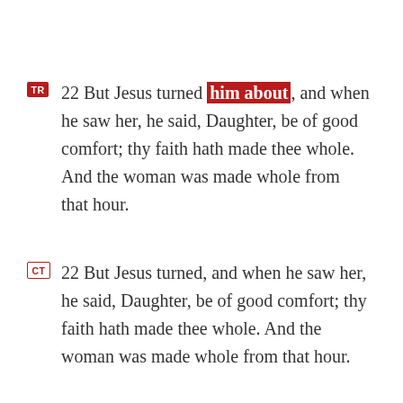TR 22 But Jesus turned him about, and when he saw her, he said, Daughter, be of good comfort; thy faith hath made thee whole. And the woman was made whole from that hour.
CT 22 But Jesus turned, and when he saw her, he said, Daughter, be of good comfort; thy faith hath made thee whole. And the woman was made whole from that hour.